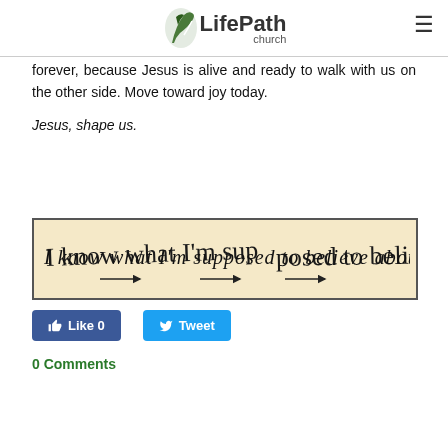LifePath church
forever, because Jesus is alive and ready to walk with us on the other side. Move toward joy today.
Jesus, shape us.
[Figure (photo): Handwritten note on a tan/yellow background reading: I know what I'm supposed to believe about Jesus, with arrows drawn beneath words.]
Like 0   Tweet
0 Comments